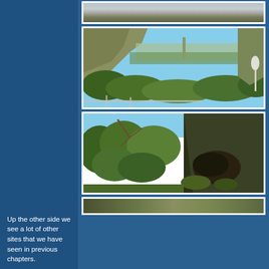[Figure (photo): Partial view of a landscape/road scene, cropped at top]
[Figure (photo): Canyon or hillside view with green shrubs, rocky outcroppings, and blue sky; looking down into a vegetated ravine with a guard rail visible at bottom]
[Figure (photo): Hillside with dense green vegetation and a large dead or fallen tree with exposed roots on the right side; blue sky at top]
[Figure (photo): Partial view of another outdoor/vegetation scene, cropped at bottom]
Up the other side we see a lot of other sites that we have seen in previous chapters.